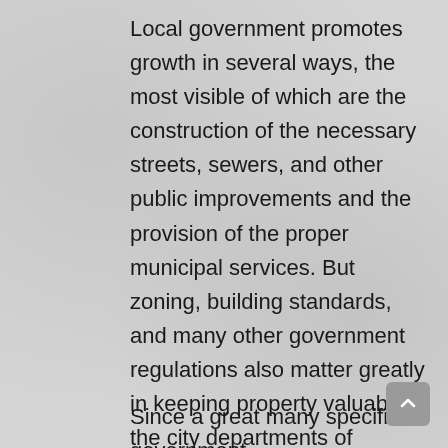Local government promotes growth in several ways, the most visible of which are the construction of the necessary streets, sewers, and other public improvements and the provision of the proper municipal services. But zoning, building standards, and many other government regulations also matter greatly in keeping property valuable…the city departments of planning and public works, among several, become allies of the growth coalition with the hope that their departments will grow and prosper (Mollenkopf, 1983).
Since a great many specific government